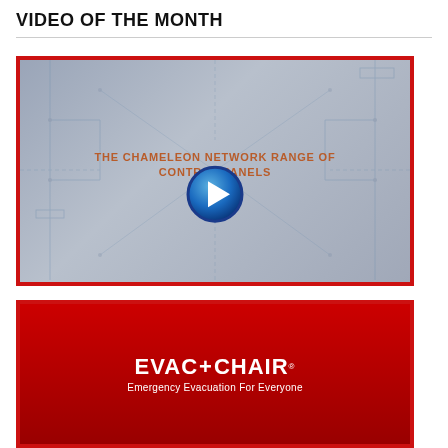VIDEO OF THE MONTH
[Figure (screenshot): Video thumbnail with blue-grey network diagram background showing 'THE CHAMELEON NETWORK RANGE OF CONTROL PANELS' text with a circular play button overlay. Red border around image.]
[Figure (screenshot): Red background promotional banner for EVAC+CHAIR with text 'Emergency Evacuation For Everyone'. Red border around image.]